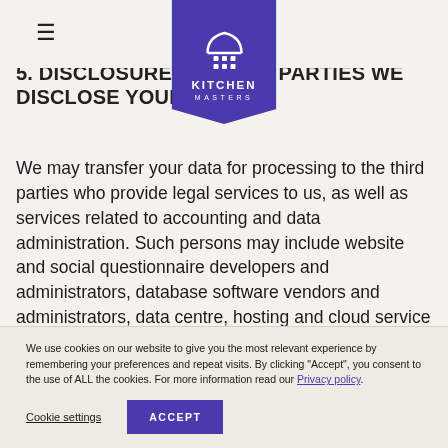Kitchen Masters logo and navigation
5. DISCLOSURE UNDER ... PARTIES WE DISCLOSE YOUR DATA T...
We may transfer your data for processing to the third parties who provide legal services to us, as well as services related to accounting and data administration. Such persons may include website and social questionnaire developers and administrators, database software vendors and administrators, data centre, hosting and cloud service providers, and etc. In each case, we provide the data controller with only as
We use cookies on our website to give you the most relevant experience by remembering your preferences and repeat visits. By clicking "Accept", you consent to the use of ALL the cookies. For more information read our Privacy policy.
Cookie settings   ACCEPT